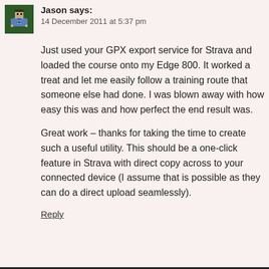[Figure (illustration): Pixel avatar of a person in blue and dark green colors]
Jason says:
14 December 2011 at 5:37 pm
Just used your GPX export service for Strava and loaded the course onto my Edge 800. It worked a treat and let me easily follow a training route that someone else had done. I was blown away with how easy this was and how perfect the end result was.
Great work – thanks for taking the time to create such a useful utility. This should be a one-click feature in Strava with direct copy across to your connected device (I assume that is possible as they can do a direct upload seamlessly).
Reply